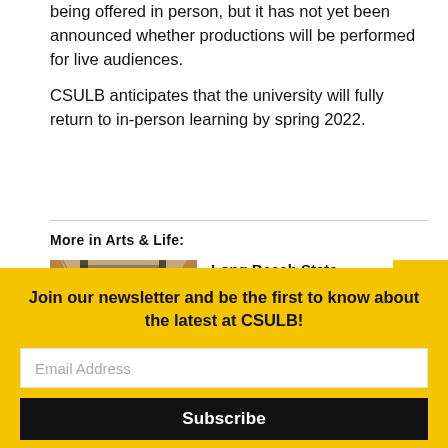being offered in person, but it has not yet been announced whether productions will be performed for live audiences.

CSULB anticipates that the university will fully return to in-person learning by spring 2022.
More in Arts & Life:
[Figure (photo): Photo of a building interior with wooden sculptural elements or decorative pieces near a window]
Long Beach State renovates windows and air conditioning
August 21, 2022
Join our newsletter and be the first to know about the latest at CSULB!
Email Address
Subscribe